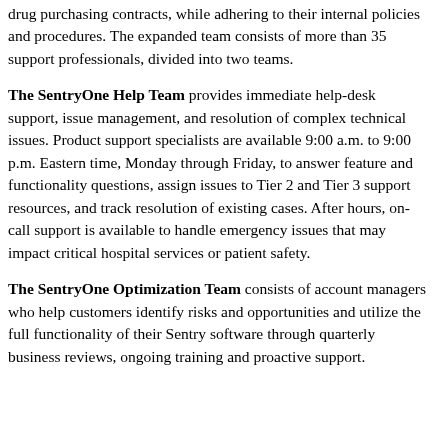phone support for use issues, and identify opportunities for each customer to maximize drug-cost savings throughout all hospital drug purchasing contracts, while adhering to their internal policies and procedures. The expanded team consists of more than 35 support professionals, divided into two teams.
The SentryOne Help Team provides immediate help-desk support, issue management, and resolution of complex technical issues. Product support specialists are available 9:00 a.m. to 9:00 p.m. Eastern time, Monday through Friday, to answer feature and functionality questions, assign issues to Tier 2 and Tier 3 support resources, and track resolution of existing cases. After hours, on-call support is available to handle emergency issues that may impact critical hospital services or patient safety.
The SentryOne Optimization Team consists of account managers who help customers identify risks and opportunities and utilize the full functionality of their Sentry software through quarterly business reviews, ongoing training and proactive support.